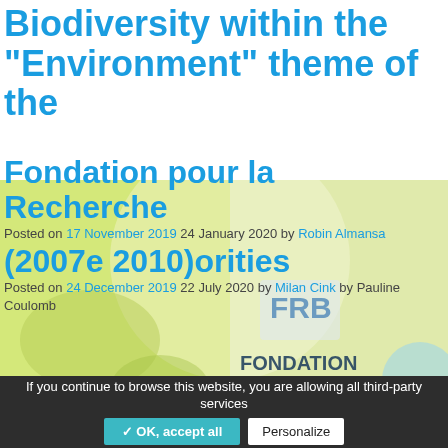Biodiversity within the “Environment” theme of the
Fondation pour la Recherche sur la Biodiversité (FRB): 2007-2010
Posted on 17 November 2019 24 January 2020 by Robin Almansa
Training guide Uloha French Authorities
Posted on 24 December 2019 22 July 2020 by Milan Cink by Pauline Coulomb
[Figure (photo): Green and white image with globe/world map motif. Overlaid text reads FONDATION SUR LA BIODIVERSITÉ with a partial logo/icon.]
If you continue to browse this website, you are allowing all third-party services
✓ OK, accept all
Personalize